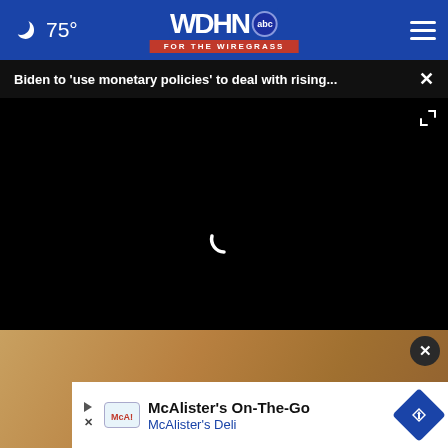75° WDHN abc FOR THE WIREGRASS
Biden to 'use monetary policies' to deal with rising...
[Figure (screenshot): Video player with black screen and loading spinner, with play/mute controls and 00:00 time display]
[Figure (photo): Advertisement overlay showing McAlister's On-The-Go McAlister's Deli ad banner over a photo background]